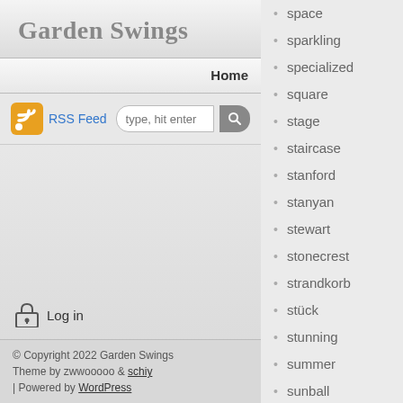Garden Swings
Home
[Figure (other): RSS Feed icon and search bar with placeholder text 'type, hit enter']
space
sparkling
specialized
square
stage
staircase
stanford
stanyan
stewart
stonecrest
strandkorb
stück
stunning
summer
sunball
sunjoy
sunnydaze
sunset
super
supernova
Log in
© Copyright 2022 Garden Swings
Theme by zwwooooo & schiy
| Powered by WordPress